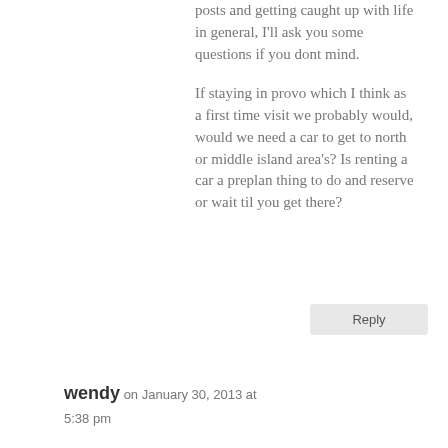posts and getting caught up with life in general, I'll ask you some questions if you dont mind.

If staying in provo which I think as a first time visit we probably would, would we need a car to get to north or middle island area's? Is renting a car a preplan thing to do and reserve or wait til you get there?
Reply
wendy on January 30, 2013 at 5:38 pm